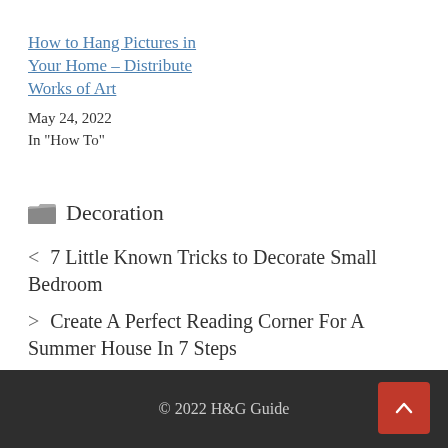How to Hang Pictures in Your Home – Distribute Works of Art
May 24, 2022
In "How To"
Decoration
< 7 Little Known Tricks to Decorate Small Bedroom
> Create A Perfect Reading Corner For A Summer House In 7 Steps
© 2022 H&G Guide